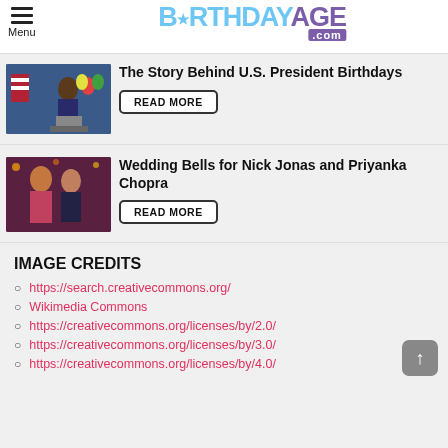Menu — BirthdayAge.com
The Story Behind U.S. President Birthdays
READ MORE
[Figure (photo): Photo of Barack Obama at a podium with balloons]
Wedding Bells for Nick Jonas and Priyanka Chopra
READ MORE
[Figure (photo): Photo of Nick Jonas and Priyanka Chopra together]
IMAGE CREDITS
https://search.creativecommons.org/
Wikimedia Commons
https://creativecommons.org/licenses/by/2.0/
https://creativecommons.org/licenses/by/3.0/
https://creativecommons.org/licenses/by/4.0/